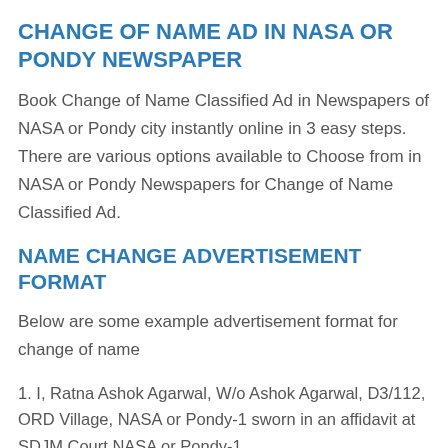CHANGE OF NAME AD IN NASA OR PONDY NEWSPAPER
Book Change of Name Classified Ad in Newspapers of NASA or Pondy city instantly online in 3 easy steps. There are various options available to Choose from in NASA or Pondy Newspapers for Change of Name Classified Ad.
NAME CHANGE ADVERTISEMENT FORMAT
Below are some example advertisement format for change of name
1. I, Ratna Ashok Agarwal, W/o Ashok Agarwal, D3/112, ORD Village, NASA or Pondy-1 sworn in an affidavit at SDJM Court NASA or Pondy-1 …